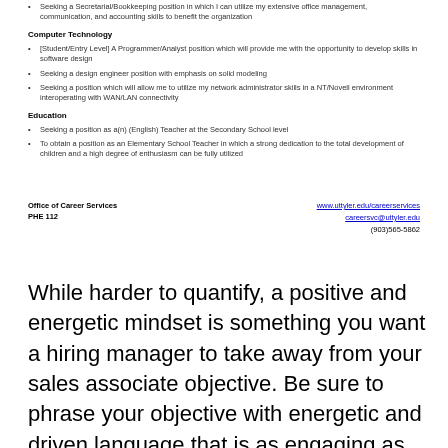Seeking a Secretarial/Bookkeeping position in which I can utilize my extensive office management, communication, and accounting skills to benefit the organization
Computer Technology
[Student/Entry Level] A Programmer/Analyst position which will provide me with the opportunity to develop skills in software design
Seeking a design engineer position with emphasis on solid modeling
Seeking a position which will allow me to utilize my network administrator skills in a NT/Novell environment interoperating with WAN/LAN connectivity
Education
Seeking a position as a(n) (English) Teacher at the Secondary School level
To obtain a position as an Elementary School Teacher in which a strong dedication to the total development of children and a high degree of enthusiasm can be fully utilized
Office of Career Services
PHE 112
www.uttyler.edu/careerservices
careersvc@uttyler.edu
(903)565-5862
While harder to quantify, a positive and energetic mindset is something you want a hiring manager to take away from your sales associate objective. Be sure to phrase your objective with energetic and driven language that is as engaging as possible. Instead of saying you aim to hit sales quotas, say